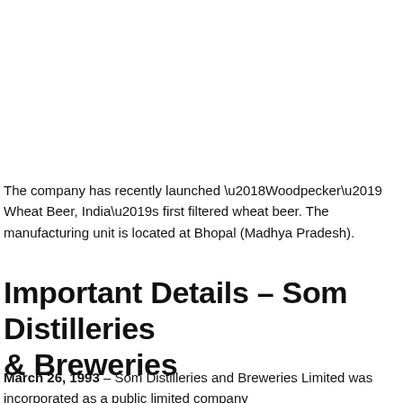The company has recently launched ‘Woodpecker’ Wheat Beer, India’s first filtered wheat beer. The manufacturing unit is located at Bhopal (Madhya Pradesh).
Important Details – Som Distilleries & Breweries
March 26, 1993 – Som Distilleries and Breweries Limited was incorporated as a public limited company